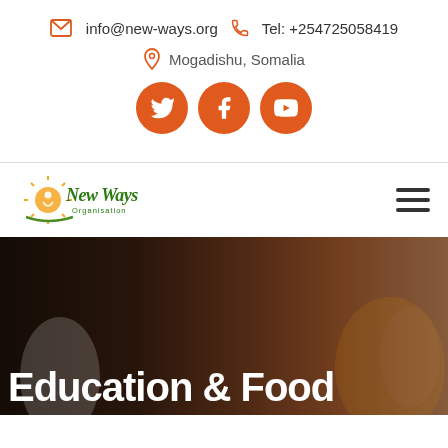info@new-ways.org   Tel: +254725058419
Mogadishu, Somalia
[Figure (other): Three orange circular social media icons: Twitter, Facebook, YouTube]
[Figure (logo): New Ways Organisation logo with sun and green script text]
[Figure (other): Three-line hamburger menu icon]
[Figure (photo): Dark hero image with people in background]
Education & Food